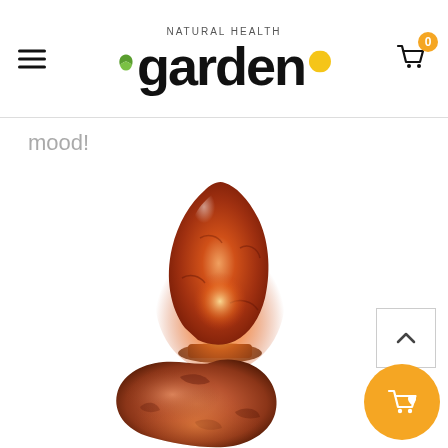Natural Health Garden - navigation header with logo and cart
mood!
[Figure (photo): Himalayan salt lamp glowing orange on a wooden base, isolated on white background]
[Figure (photo): Himalayan salt rock (unlit), rough reddish-orange stone, shown from above]